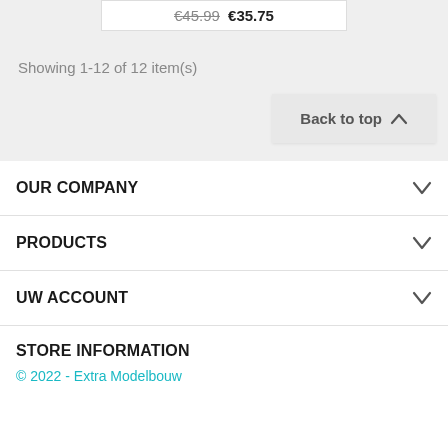€45.99 €35.75
Showing 1-12 of 12 item(s)
Back to top ∧
OUR COMPANY
PRODUCTS
UW ACCOUNT
STORE INFORMATION
© 2022 - Extra Modelbouw